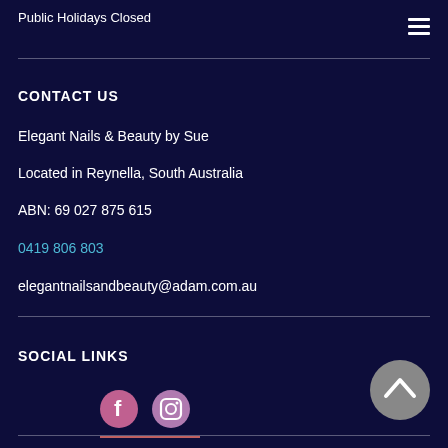Public Holidays Closed
[Figure (other): Hamburger menu icon (three horizontal lines)]
CONTACT US
Elegant Nails & Beauty by Sue
Located in Reynella, South Australia
ABN: 69 027 875 615
0419 806 803
elegantnailsandbeauty@adam.com.au
SOCIAL LINKS
[Figure (other): Facebook and Instagram social media icons]
[Figure (other): Back to top button (chevron up in grey circle)]